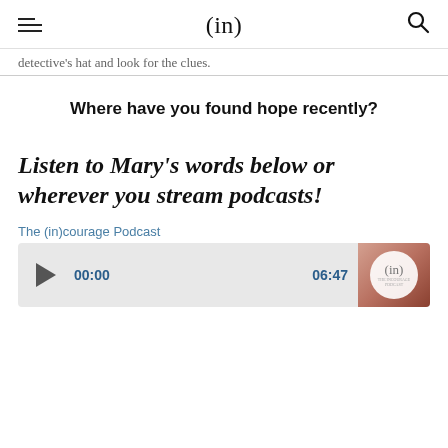(in)
detective's hat and look for the clues.
Where have you found hope recently?
Listen to Mary's words below or wherever you stream podcasts!
The (in)courage Podcast
[Figure (screenshot): Podcast audio player bar showing play button, start time 00:00, end time 06:47, and (in)courage podcast thumbnail image on the right]